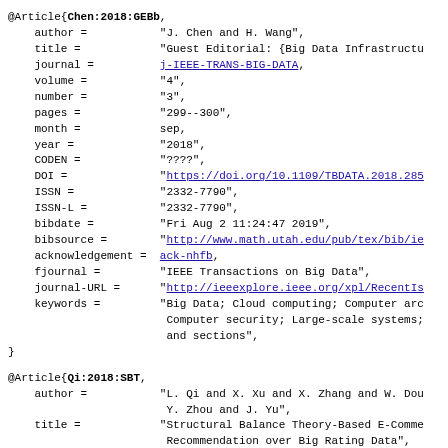@Article{Chen:2018:GEBb, author = "J. Chen and H. Wang", title = "Guest Editorial: {Big Data Infrastructu...", journal = j-IEEE-TRANS-BIG-DATA, volume = "4", number = "3", pages = "299--300", month = sep, year = "2018", CODEN = "????", DOI = "https://doi.org/10.1109/TBDATA.2018.285...", ISSN = "2332-7790", ISSN-L = "2332-7790", bibdate = "Fri Aug 2 11:24:47 2019", bibsource = "http://www.math.utah.edu/pub/tex/bib/ie...", acknowledgement = ack-nhfb, fjournal = "IEEE Transactions on Big Data", journal-URL = "http://ieeexplore.ieee.org/xpl/RecentIs...", keywords = "Big Data; Cloud computing; Computer arc... Computer security; Large-scale systems; and sections", }
@Article{Qi:2018:SBT, author = "L. Qi and X. Xu and X. Zhang and W. Dou... Y. Zhou and J. Yu", title = "Structural Balance Theory-Based E-Comme... Recommendation over Big Rating Data", journal = j-IEEE-TRANS-BIG-DATA,